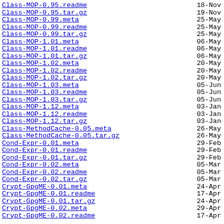Class-MOP-0.95.readme   18-Nov
Class-MOP-0.95.tar.gz   19-Nov
Class-MOP-0.99.meta   25-May
Class-MOP-0.99.readme   25-May
Class-MOP-0.99.tar.gz   25-May
Class-MOP-1.01.meta   06-May
Class-MOP-1.01.readme   06-May
Class-MOP-1.01.tar.gz   06-May
Class-MOP-1.02.meta   20-May
Class-MOP-1.02.readme   20-May
Class-MOP-1.02.tar.gz   20-May
Class-MOP-1.03.meta   05-Jun
Class-MOP-1.03.readme   05-Jun
Class-MOP-1.03.tar.gz   05-Jun
Class-MOP-1.12.meta   03-Jan
Class-MOP-1.12.readme   03-Jan
Class-MOP-1.12.tar.gz   03-Jan
Class-MethodCache-0.05.meta   26-May
Class-MethodCache-0.05.tar.gz   26-May
Cond-Expr-0.01.meta   29-Feb
Cond-Expr-0.01.readme   29-Feb
Cond-Expr-0.01.tar.gz   29-Feb
Cond-Expr-0.02.meta   05-Mar
Cond-Expr-0.02.readme   05-Mar
Cond-Expr-0.02.tar.gz   05-Mar
Crypt-GpgME-0.01.meta   24-Apr
Crypt-GpgME-0.01.readme   17-Apr
Crypt-GpgME-0.01.tar.gz   24-Apr
Crypt-GpgME-0.02.meta   29-Apr
Crypt-GpgME-0.02.readme   17-Apr